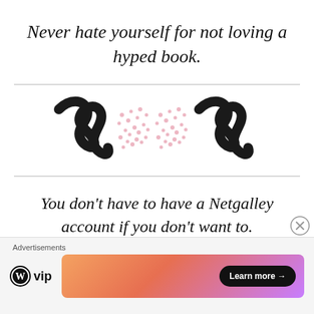Never hate yourself for not loving a hyped book.
[Figure (illustration): Decorative illustration of two zigzag/squiggly black brush strokes with pink dot patterns between them, resembling a stylized pair of eyes or a decorative divider]
You don't have to have a Netgalley account if you don't want to.
Advertisements | WordPress VIP | Learn more →